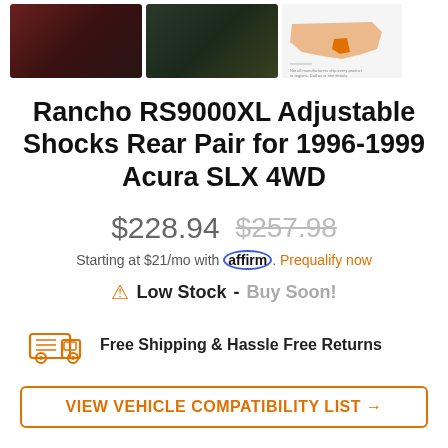[Figure (photo): Three thumbnail images: red vehicle closeup, orange off-road vehicle undercarriage, US map showing shipping coverage]
Rancho RS9000XL Adjustable Shocks Rear Pair for 1996-1999 Acura SLX 4WD
$228.94  $257.98
Starting at $21/mo with affirm. Prequalify now
⚠ Low Stock - Buy Soon!
Free Shipping & Hassle Free Returns
VIEW VEHICLE COMPATIBILITY LIST